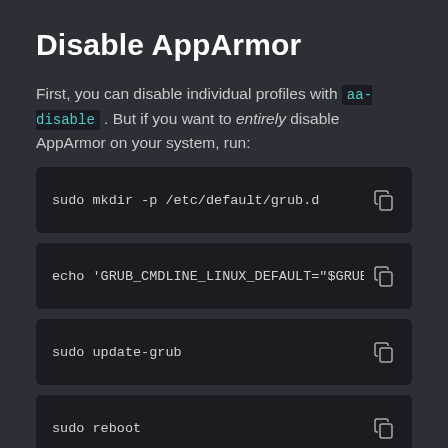Disable AppArmor
First, you can disable individual profiles with aa-disable. But if you want to entirely disable AppArmor on your system, run:
sudo mkdir -p /etc/default/grub.d
echo 'GRUB_CMDLINE_LINUX_DEFAULT="$GRUB_CMDLINE_
sudo update-grub
sudo reboot
Debug AppArmor